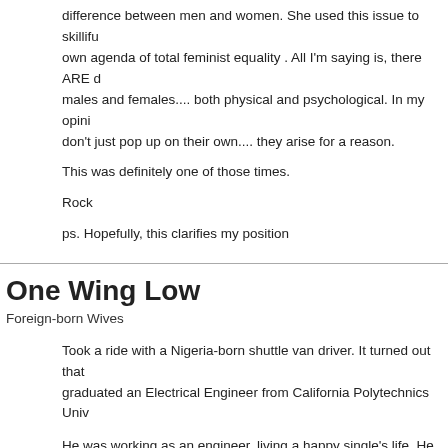difference between men and women. She used this issue to skillfuly [sic] own agenda of total feminist equality . All I'm saying is, there ARE differences males and females.... both physical and psychological. In my opinion, these don't just pop up on their own.... they arise for a reason.
This was definitely one of those times.
Rock
ps. Hopefully, this clarifies my position
One Wing Low
Foreign-born Wives
Took a ride with a Nigeria-born shuttle van driver. It turned out that he graduated an Electrical Engineer from California Polytechnics Univ
He was working as an engineer, living a happy single's life. He felt at gatherings that all his siblings were married with kids. It seems that get hooked into the same trap as they. At 40, he finally married a relative from Nigeria and brought her to America. She refused to go to work, at the same time forcing him to work extra jobs to bring more money into the household. He estimated that she could be making $45-$60 an hour but refused to go to work.
Despite hating each other, somehow they had 6 children in the past... son was a star football player in high school and was offered full fo